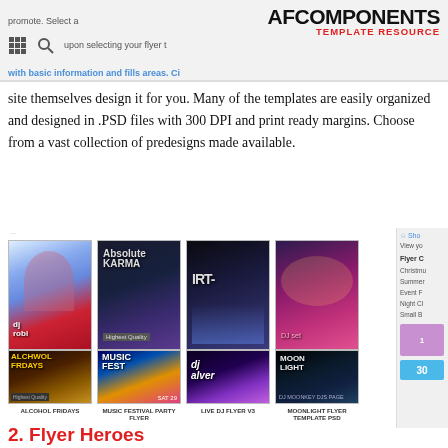AFCOMPONENTS TEMPLATE RESOURCE
site themselves design it for you. Many of the templates are easily organized and designed in .PSD files with 300 DPI and print ready margins. Choose from a vast collection of predesigns made available.
[Figure (screenshot): Grid of 8 flyer template thumbnails in two rows of 4: Live DJ Flyer V4, Absolute Karma, Dirty Party, Optical Illusion (top row); Alcohol Fridays, Music Festival Party Flyer, Live DJ Flyer V3, Moonlight Flyer Template PSD (bottom row). Partial sidebar visible on right.]
2. Flyer Heroes